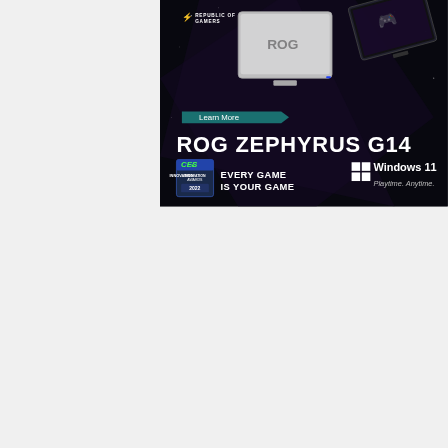[Figure (photo): ASUS ROG Zephyrus G14 advertisement banner with gaming laptops on dark background. Shows ROG Republic of Gamers logo, Learn More button, ROG ZEPHYRUS G14 title, CES Innovation Awards 2022 badge, tagline EVERY GAME IS YOUR GAME, Windows 11 logo and Playtime. Anytime. text.]
[Figure (photo): Partial second ASUS advertisement banner with gray gradient background and ASUS logo text in gold/yellow.]
Search for
1  BEST HIGH RETURN INVESTMENTS
2  MASTER'S DEGREE IN CYBERSECURITY
Ad | Business Focus